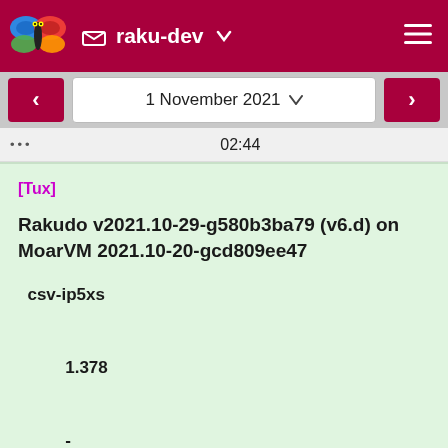raku-dev
1 November 2021
02:44
[Tux]
Rakudo v2021.10-29-g580b3ba79 (v6.d) on MoarVM 2021.10-20-gcd809ee47
csv-ip5xs

        1.378

        -

        1.392